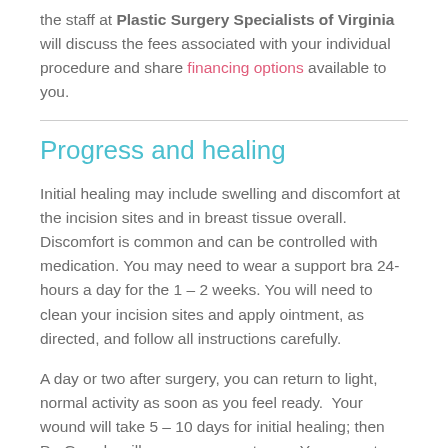the staff at Plastic Surgery Specialists of Virginia will discuss the fees associated with your individual procedure and share financing options available to you.
Progress and healing
Initial healing may include swelling and discomfort at the incision sites and in breast tissue overall. Discomfort is common and can be controlled with medication. You may need to wear a support bra 24-hours a day for the 1 – 2 weeks. You will need to clean your incision sites and apply ointment, as directed, and follow all instructions carefully.
A day or two after surgery, you can return to light, normal activity as soon as you feel ready.  Your wound will take 5 – 10 days for initial healing; then Dr. Guarda will remove your sutures.  You can return to work and normal activity at this time, if you are comfortable —